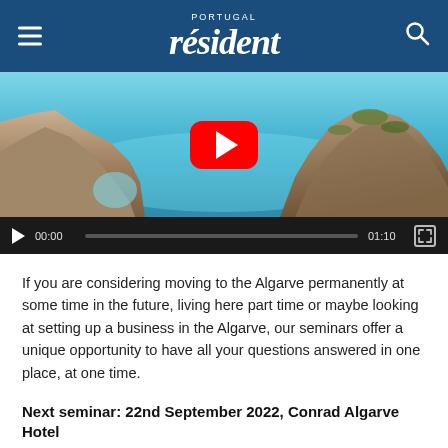Portugal resident
[Figure (screenshot): Video player showing Algarve coastal cliffs and sea scenery, with a red YouTube play button overlay. Controls show 00:00 / 01:10 with a progress bar and fullscreen button.]
If you are considering moving to the Algarve permanently at some time in the future, living here part time or maybe looking at setting up a business in the Algarve, our seminars offer a unique opportunity to have all your questions answered in one place, at one time.
Next seminar: 22nd September 2022, Conrad Algarve Hotel
Save your Free Seats